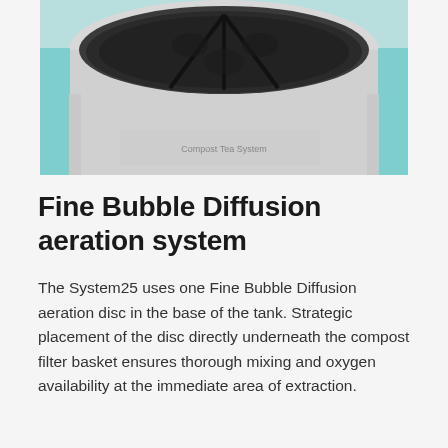[Figure (photo): Top-down close-up photo of a round container or tank with a dark foam/sponge filter disc insert visible inside, set against a teal/cyan colored base. The image is cropped showing only the upper portion of the device.]
Fine Bubble Diffusion aeration system
The System25 uses one Fine Bubble Diffusion aeration disc in the base of the tank. Strategic placement of the disc directly underneath the compost filter basket ensures thorough mixing and oxygen availability at the immediate area of extraction.